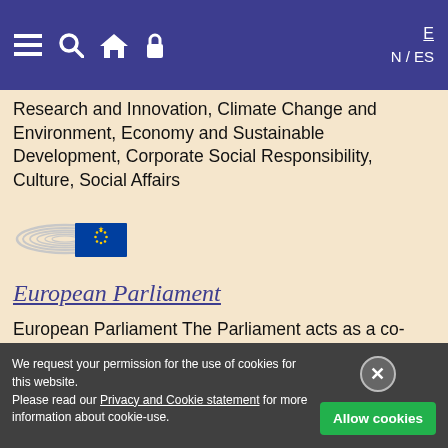EN / ES (navigation bar with menu, search, home, lock icons)
Research and Innovation, Climate Change and Environment, Economy and Sustainable Development, Corporate Social Responsibility, Culture, Social Affairs
[Figure (logo): European Parliament logo: concentric oval lines with EU flag (blue rectangle with circle of yellow stars)]
European Parliament
European Parliament The Parliament acts as a co-legislator, sharing with the Council the power to adopt and amend legislation, and to decide on the EU
We request your permission for the use of cookies for this website. Please read our Privacy and Cookie statement for more information about cookie-use.
Allow cookies